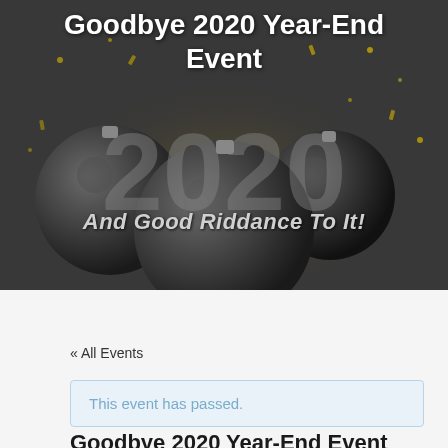[Figure (illustration): Hero banner image showing dark ornamental Christmas balls with gold confetti on a dark grey background. Large bold white text reads 'Goodbye 2020 Year-End Event' and italic grey text reads 'And Good Riddance To It!']
« All Events
This event has passed.
Goodbye 2020 Year-End Event